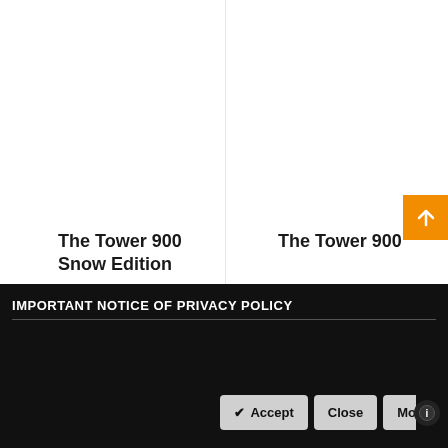The Tower 900 Snow Edition
The Tower 900
Design Collaboration
Design Collaboration
[Figure (other): Orange scroll-to-top button with white upward arrow]
IMPORTANT NOTICE OF PRIVACY POLICY
Accept  Close  Mo